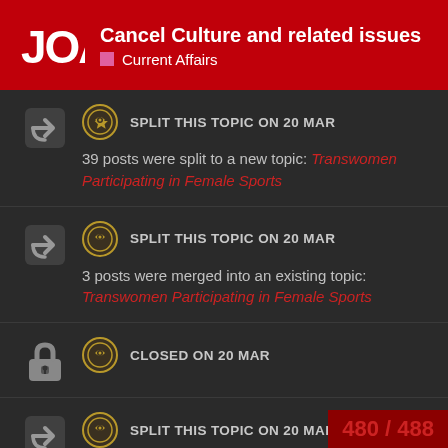Cancel Culture and related issues | Current Affairs
SPLIT THIS TOPIC ON 20 MAR
39 posts were split to a new topic: Transwomen Participating in Female Sports
SPLIT THIS TOPIC ON 20 MAR
3 posts were merged into an existing topic: Transwomen Participating in Female Sports
CLOSED ON 20 MAR
SPLIT THIS TOPIC ON 20 MAR
A post was merged into an existing topic: Transwomen Participating in F…
480 / 488